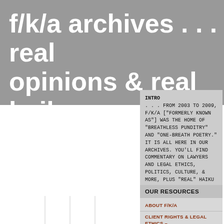f/k/a archives . . . real opinions & real haiku
May 10, 2005
taking turns being first
Filed under: pre-06-2006 – David Giacalone @ 7:05 pm
INTRO
. . . FROM 2003 TO 2009, F/K/A ["FORMERLY KNOWN AS"] WAS THE HOME OF "BREATHLESS PUNDITRY" AND "ONE-BREATH POETRY." IT IS ALL HERE IN OUR ARCHIVES. YOU'LL FIND COMMENTARY ON LAWYERS AND LEGAL ETHICS, POLITICS, CULTURE, & MORE, PLUS "REAL" HAIKU BY OVER TWO DOZEN HONORED GUEST POETS.
OUR RESOURCES
ABOUT F/K/A
CLIENT RIGHTS & LEGAL ETHICS – EthicalEsq
DAVID GIACALONE's HAIKU
GOOGLE F/K/A